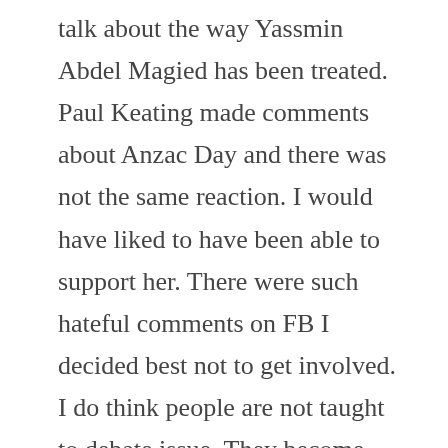talk about the way Yassmin Abdel Magied has been treated. Paul Keating made comments about Anzac Day and there was not the same reaction. I would have liked to have been able to support her. There were such hateful comments on FB I decided best not to get involved. I do think people are not taught to debate issue. They become personal and stray from the issue. I remember a friend saying her husband studied some subjects in psychology and you learn how